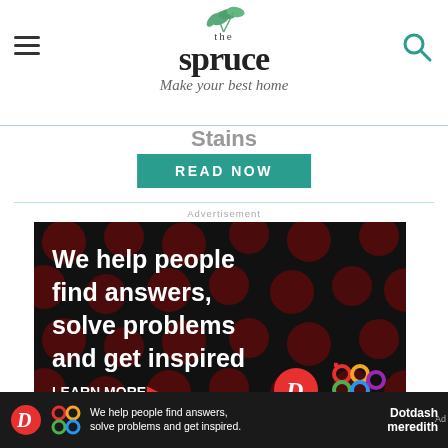the spruce — Make your best home
Stains
READ NOW
Advertisement
[Figure (infographic): Dotdash Meredith advertisement: black background with dark red polka-dot pattern, large white bold text reading 'We help people find answers, solve problems and get inspired.' with red period, LEARN MORE button with red arrow, Dotdash D logo in red circle, Meredith colorful knot logo]
BACK TO TOP
We help people find answers, solve problems and get inspired.
Dotdash meredith
Ad